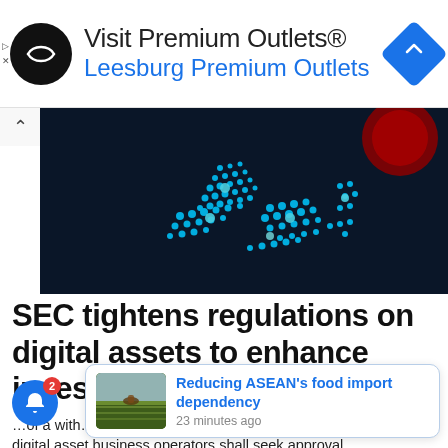[Figure (other): Advertisement banner: Visit Premium Outlets® Leesburg Premium Outlets with a circular black logo with double-arrow icon and a blue diamond navigation arrow icon on the right]
[Figure (photo): Dark blue background map of Southeast Asia (ASEAN region) made of glowing blue dots/lights, with a red glowing orb in the top right corner]
SEC tightens regulations on digital assets to enhance investor protection
of a with from 2 digital asset business operators shall seek approval from two authorized persons
[Figure (photo): Popup notification card: thumbnail photo of rice paddy fields with farmer, with link text 'Reducing ASEAN's food import dependency' and timestamp '23 minutes ago']